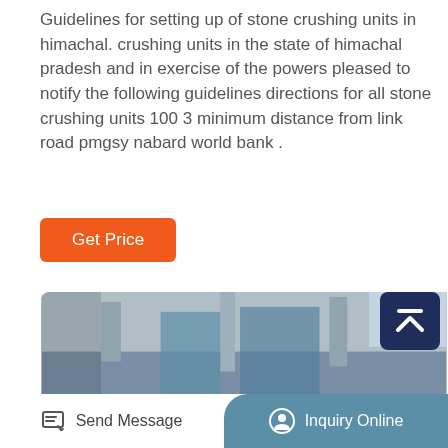Guidelines for setting up of stone crushing units in himachal. crushing units in the state of himachal pradesh and in exercise of the powers pleased to notify the following guidelines directions for all stone crushing units 100 3 minimum distance from link road pmgsy nabard world bank .
[Figure (other): Orange 'Get Price' button]
[Figure (photo): Industrial photo of stone crushing machines (jaw crushers) lined up in a factory, showing large red and black flywheels on white/cream colored machinery inside a warehouse.]
[Figure (other): Dark navy blue scroll-to-top button with an upward caret/chevron icon in the top-right corner]
Send Message   Inquiry Online